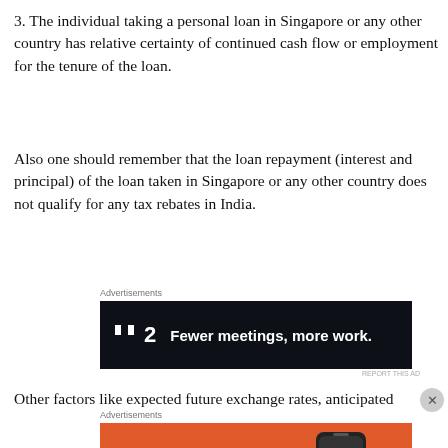3. The individual taking a personal loan in Singapore or any other country has relative certainty of continued cash flow or employment for the tenure of the loan.
Also one should remember that the loan repayment (interest and principal) of the loan taken in Singapore or any other country does not qualify for any tax rebates in India.
[Figure (other): Advertisement banner for a workplace productivity app showing logo '⬛2' and tagline 'Fewer meetings, more work.' on dark background]
Other factors like expected future exchange rates, anticipated
[Figure (other): Advertisement banner for DuckDuckGo showing 'Search, browse, and email with more privacy. All in One Free App' on orange background with phone mockup and DuckDuckGo logo]